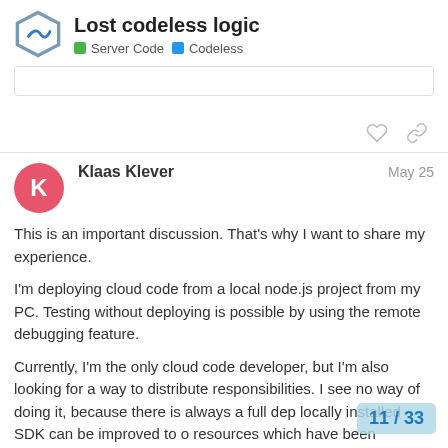Lost codeless logic — Server Code · Codeless
Klaas Klever  May 25
This is an important discussion. That's why I want to share my experience.
I'm deploying cloud code from a local node.js project from my PC. Testing without deploying is possible by using the remote debugging feature.
Currently, I'm the only cloud code developer, but I'm also looking for a way to distribute responsibilities. I see no way of doing it, because there is always a full dep locally installed SDK can be improved to o resources which have been changed sinc…